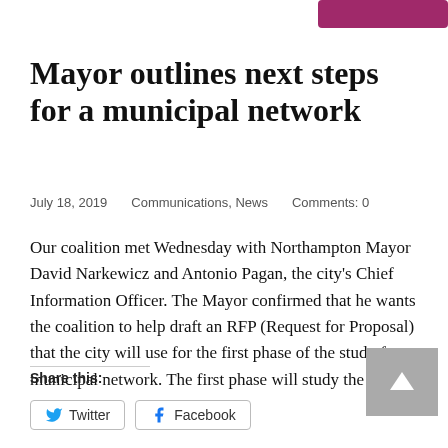Mayor outlines next steps for a municipal network
July 18, 2019    Communications, News    Comments: 0
Our coalition met Wednesday with Northampton Mayor David Narkewicz and Antonio Pagan, the city's Chief Information Officer. The Mayor confirmed that he wants the coalition to help draft an RFP (Request for Proposal) that the city will use for the first phase of the study for a municipal network. The first phase will study the ...
Share this:
Twitter   Facebook